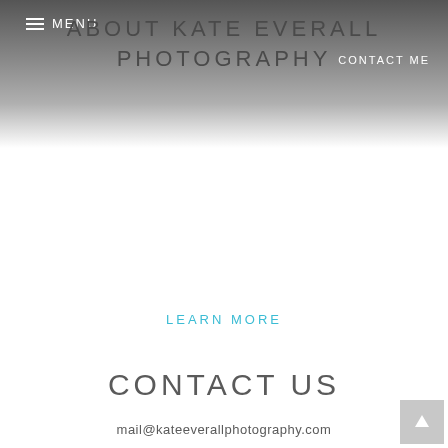MENU  ABOUT KATE EVERALL PHOTOGRAPHY  CONTACT ME
LEARN MORE
CONTACT US
mail@kateeverallphotography.com